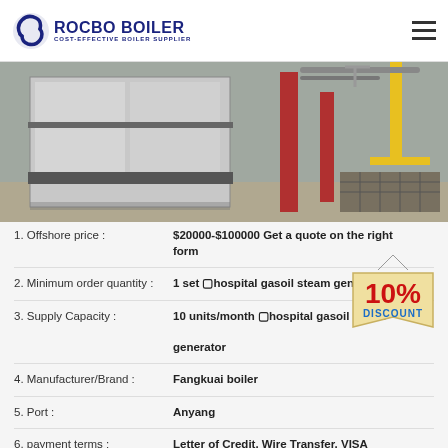[Figure (logo): Rocbo Boiler logo with circular icon and tagline COST-EFFECTIVE BOILER SUPPLIER]
[Figure (photo): Industrial boiler equipment in a factory setting, showing large metal panels and red structural columns]
[Figure (infographic): 10% DISCOUNT badge in red and blue on a beige banner shape]
1. Offshore price : $20000-$100000 Get a quote on the right form
2. Minimum order quantity : 1 set  hospital gasoil steam generator
3. Supply Capacity : 10 units/month  hospital gasoil steam generator
4. Manufacturer/Brand : Fangkuai boiler
5. Port : Anyang
6. payment terms : Letter of Credit, Wire Transfer, VISA